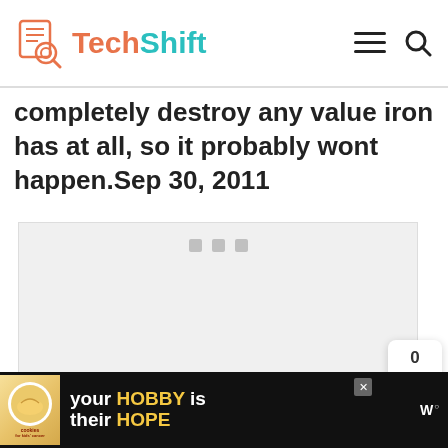TechShift
completely destroy any value iron has at all, so it probably wont happen.Sep 30, 2011
[Figure (screenshot): Placeholder/loading advertisement box with three gray squares at top center]
[Figure (infographic): Share widget showing count 0 and a blue share button]
[Figure (infographic): WHAT'S NEXT card: How do I fix display over...]
[Figure (infographic): Bottom advertisement banner: cookies brand logo, your HOBBY is their HOPE text, W logo on dark background]